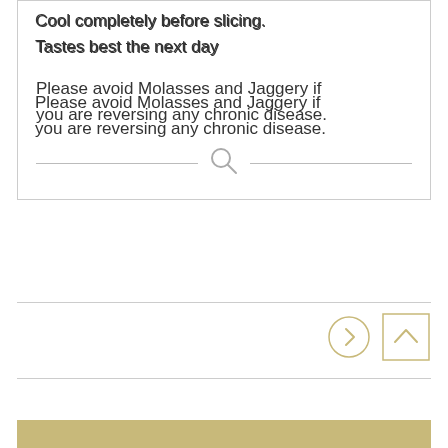Cool completely before slicing. Tastes best the next day
Please avoid Molasses and Jaggery if you are reversing any chronic disease.
[Figure (other): Search icon (magnifying glass) with horizontal divider lines on either side]
[Figure (other): Navigation icons: circle with right arrow chevron, and square with up arrow chevron]
[Figure (other): Gold/tan colored bar at bottom of page]